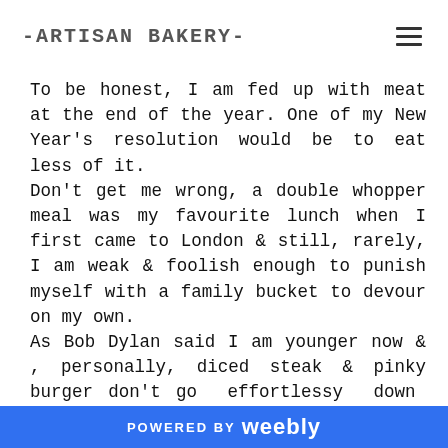-ARTISAN BAKERY-
To be honest, I am fed up with meat at the end of the year. One of my New Year's resolution would be to eat less of it. Don't get me wrong, a double whopper meal was my favourite lunch when I first came to London & still, rarely, I am weak & foolish enough to punish myself with a family bucket to devour on my own. As Bob Dylan said I am younger now & , personally, diced steak & pinky burger don't go effortlessy down my elegant throat anymore; when they do they get stuck in my
POWERED BY weebly